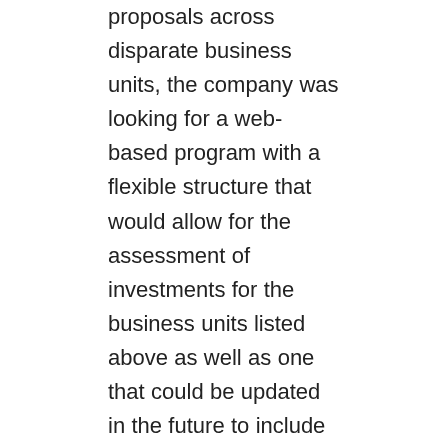proposals across disparate business units, the company was looking for a web-based program with a flexible structure that would allow for the assessment of investments for the business units listed above as well as one that could be updated in the future to include additional areas such as Facilities and IT. With these requirements at the forefront, the company set out to find a solution which would allow investment evaluation to be completed incorporating a number of differing priorities across business units such as asset risks, resource/skills availability, regulatory expectations, financial risks, etc. Not only was the company looking to evaluate investments from a diverse set of business units, taking into account the differing priorities of each, but the application